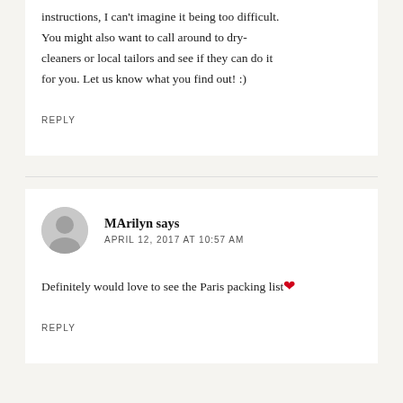instructions, I can't imagine it being too difficult. You might also want to call around to dry-cleaners or local tailors and see if they can do it for you. Let us know what you find out! :)
REPLY
MArilyn says
APRIL 12, 2017 AT 10:57 AM
Definitely would love to see the Paris packing list ❤
REPLY